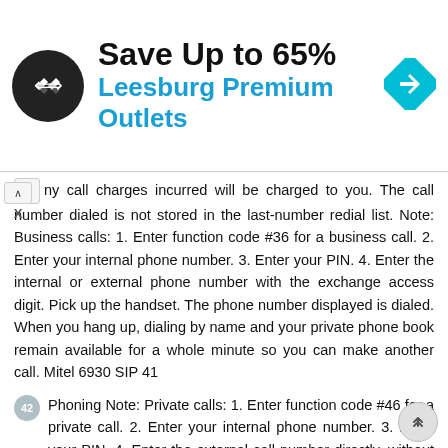[Figure (screenshot): Advertisement banner for Leesburg Premium Outlets with logo, text 'Save Up to 65% Leesburg Premium Outlets', and a navigation icon on the right.]
ny call charges incurred will be charged to you. The call number dialed is not stored in the last-number redial list. Note: Business calls: 1. Enter function code #36 for a business call. 2. Enter your internal phone number. 3. Enter your PIN. 4. Enter the internal or external phone number with the exchange access digit. Pick up the handset. The phone number displayed is dialed. When you hang up, dialing by name and your private phone book remain available for a whole minute so you can make another call. Mitel 6930 SIP 41
42 Phoning Note: Private calls: 1. Enter function code #46 for a private call. 2. Enter your internal phone number. 3. Enter your PIN. 4. Enter the external call number directly, without the exchange access digit. 5. Pick up the handset. The phone is now enabled; the external user is called. The default PIN setting 0000 is not accepted (for more information on the PIN, see chapter "Changing the PIN"...